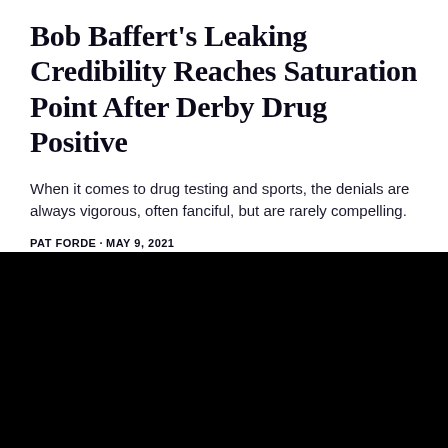Bob Baffert's Leaking Credibility Reaches Saturation Point After Derby Drug Positive
When it comes to drug testing and sports, the denials are always vigorous, often fanciful, but are rarely compelling.
PAT FORDE · MAY 9, 2021
[Figure (photo): Black image placeholder for a photo]